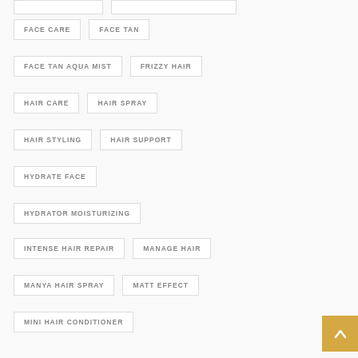FACE CARE
FACE TAN
FACE TAN AQUA MIST
FRIZZY HAIR
HAIR CARE
HAIR SPRAY
HAIR STYLING
HAIR SUPPORT
HYDRATE FACE
HYDRATOR MOISTURIZING
INTENSE HAIR REPAIR
MANAGE HAIR
MANYA HAIR SPRAY
MATT EFFECT
MINI HAIR CONDITIONER